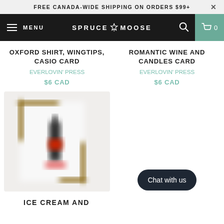FREE CANADA-WIDE SHIPPING ON ORDERS $99+
MENU  SPRUCE & MOOSE  0
OXFORD SHIRT, WINGTIPS, CASIO CARD
Everlovin' Press
$6 CAD
ROMANTIC WINE AND CANDLES CARD
Everlovin' Press
$6 CAD
[Figure (photo): Blurred product photo of a greeting card with wine bottle illustration in a brown decorative frame]
Chat with us
ICE CREAM AND